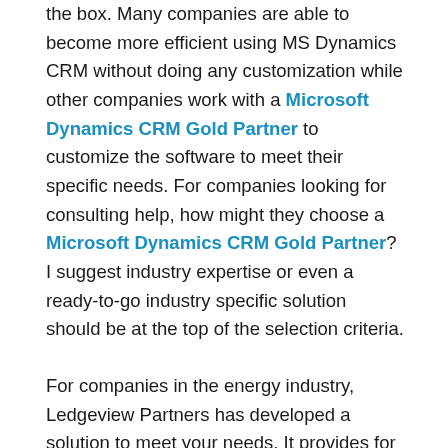the box.  Many companies are able to become more efficient using MS Dynamics CRM without doing any customization while other companies work with a Microsoft Dynamics CRM Gold Partner to customize the software to meet their specific needs.  For companies looking for consulting help, how might they choose a Microsoft Dynamics CRM Gold Partner?  I suggest industry expertise or even a ready-to-go industry specific solution should be at the top of the selection criteria.
For companies in the energy industry, Ledgeview Partners has developed a solution to meet your needs.  It provides for selling and distributing lubricants and fuel, and helps to manage gas stations/convenience store amenities and compliance.  Another feature is its ability to seamlessly integrate with your back office accounting system.  Data can be synchronized every night so your accounting Accounts, Notes, Products, Price Lists, and Order History can map